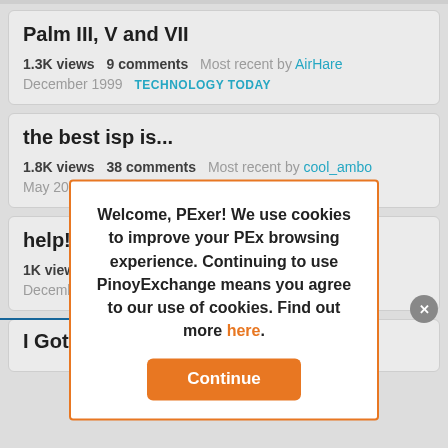Palm III, V and VII
1.3K views   9 comments   Most recent by AirHare
December 1999   TECHNOLOGY TODAY
the best isp is...
1.8K views   38 comments   Most recent by cool_ambo
May 2000   TECHNOLOGY TODAY
help!
1K views   8 comments   Most recent by ...iRL
December 19...
I Got Codes
Welcome, PExer! We use cookies to improve your PEx browsing experience. Continuing to use PinoyExchange means you agree to our use of cookies. Find out more here.
Continue